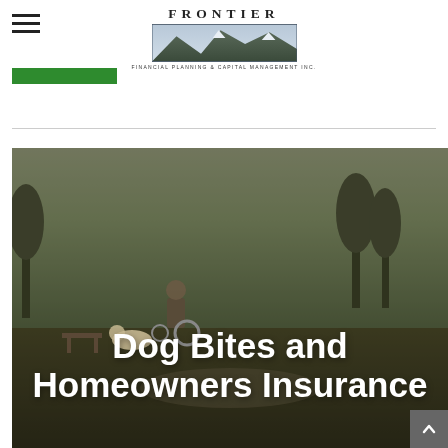[Figure (logo): Frontier Financial Planning & Capital Management Inc. logo with mountain graphic and company name]
[Figure (photo): Outdoor park scene showing a person in a wheelchair with a dog, serving as hero image background]
Dog Bites and Homeowners Insurance